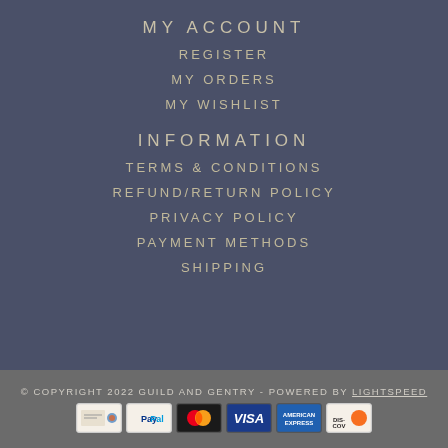MY ACCOUNT
REGISTER
MY ORDERS
MY WISHLIST
INFORMATION
TERMS & CONDITIONS
REFUND/RETURN POLICY
PRIVACY POLICY
PAYMENT METHODS
SHIPPING
© COPYRIGHT 2022 GUILD AND GENTRY - POWERED BY LIGHTSPEED
[Figure (other): Payment method icons: cheque, PayPal, Mastercard, Visa, American Express, Discover]